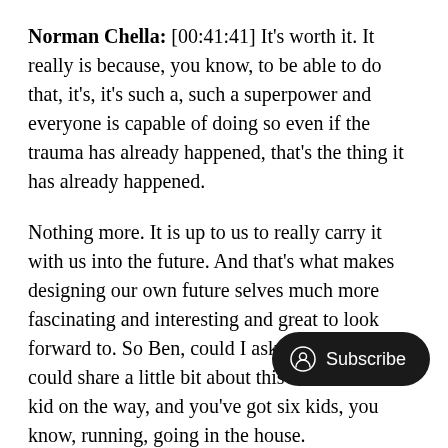Norman Chella: [00:41:41] It's worth it. It really is because, you know, to be able to do that, it's, it's such a, such a superpower and everyone is capable of doing so even if the trauma has already happened, that's the thing it has already happened.
Nothing more. It is up to us to really carry it with us into the future. And that's what makes designing our own future selves much more fascinating and interesting and great to look forward to. So Ben, could I ask, uh, maybe you could share a little bit about this with the sixth kid on the way, and you've got six kids, you know, running, going in the house.
Could you give me an idea or a visualization of what is